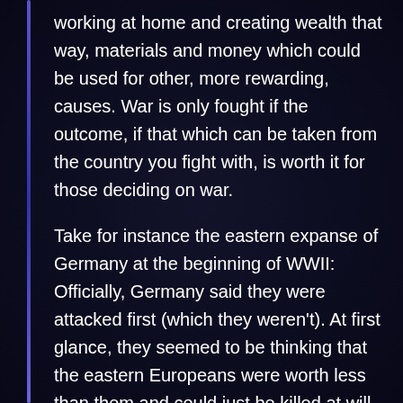working at home and creating wealth that way, materials and money which could be used for other, more rewarding, causes. War is only fought if the outcome, if that which can be taken from the country you fight with, is worth it for those deciding on war.
Take for instance the eastern expanse of Germany at the beginning of WWII: Officially, Germany said they were attacked first (which they weren't). At first glance, they seemed to be thinking that the eastern Europeans were worth less than them and could just be killed at will. In reality, they wanted to expand their country (and later on, only the constant moving of the borders and the spoils taken from the conquered areas